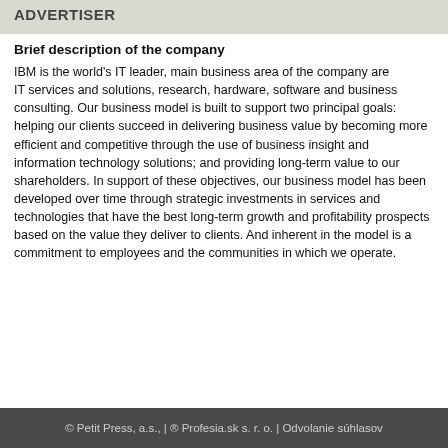ADVERTISER
Brief description of the company
IBM is the world's IT leader, main business area of the company are
IT services and solutions, research, hardware, software and business consulting. Our business model is built to support two principal goals: helping our clients succeed in delivering business value by becoming more efficient and competitive through the use of business insight and information technology solutions; and providing long-term value to our shareholders. In support of these objectives, our business model has been developed over time through strategic investments in services and technologies that have the best long-term growth and profitability prospects based on the value they deliver to clients. And inherent in the model is a commitment to employees and the communities in which we operate.
© Petit Press, a.s., | ® Profesia.sk s. r. o. | Odvolanie súhlasov